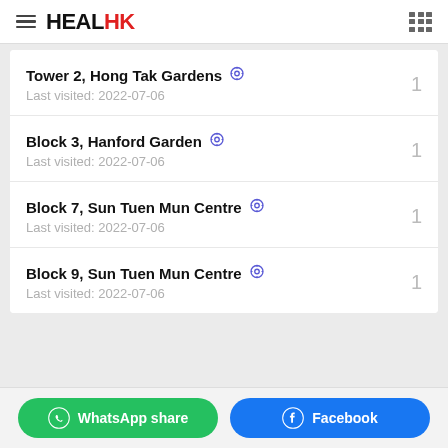HEALHK
Tower 2, Hong Tak Gardens — Last visited: 2022-07-06 — 1
Block 3, Hanford Garden — Last visited: 2022-07-06 — 1
Block 7, Sun Tuen Mun Centre — Last visited: 2022-07-06 — 1
Block 9, Sun Tuen Mun Centre — Last visited: 2022-07-06 — 1
WhatsApp share | Facebook